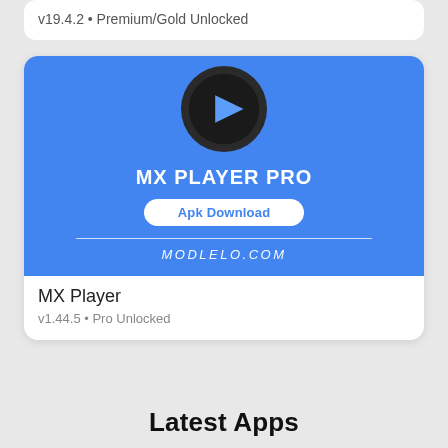v19.4.2 • Premium/Gold Unlocked
[Figure (screenshot): MX Player Pro app card with blue banner showing a play button icon, bold white text 'MX PLAYER PRO', a white 'Apk Download' button, a horizontal divider, and 'MODLELO.COM' in italic white text]
MX Player
v1.44.5 • Pro Unlocked
Latest Apps